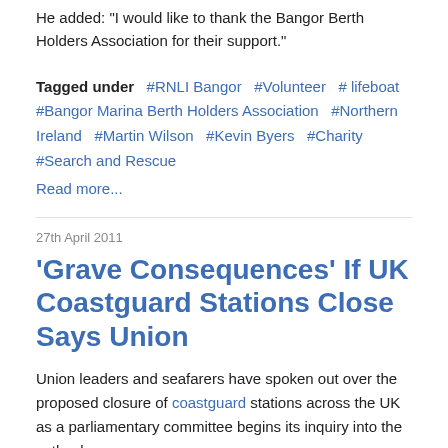He added: "I would like to thank the Bangor Berth Holders Association for their support."
Tagged under  #RNLI Bangor  #Volunteer  # lifeboat  #Bangor Marina Berth Holders Association  #Northern Ireland  #Martin Wilson  #Kevin Byers  #Charity  #Search and Rescue
Read more...
27th April 2011
'Grave Consequences' If UK Coastguard Stations Close Says Union
Union leaders and seafarers have spoken out over the proposed closure of coastguard stations across the UK as a parliamentary committee begins its inquiry into the cutbacks.
Northern Ireland's only full-time search and rescue centre at